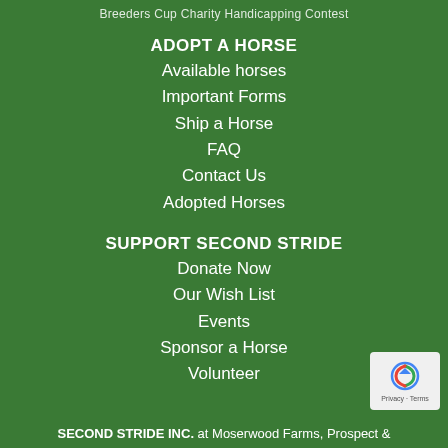Breeders Cup Charity Handicapping Contest
ADOPT A HORSE
Available horses
Important Forms
Ship a Horse
FAQ
Contact Us
Adopted Horses
SUPPORT SECOND STRIDE
Donate Now
Our Wish List
Events
Sponsor a Horse
Volunteer
SECOND STRIDE INC. at Moserwood Farms, Prospect &